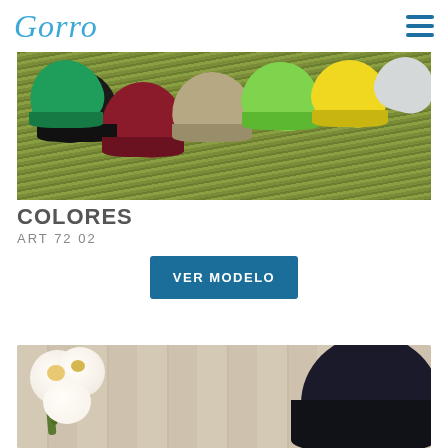Gorro
[Figure (photo): Multiple colorful knit beanies/toques laid out on green grass, showing colors including black, green, dark red/maroon, beige/khaki, lime green, and yellow]
COLORES
ART 7202
VER MODELO
[Figure (photo): A black velvet/fleece beanie hat next to white roses/flowers on a wooden surface]